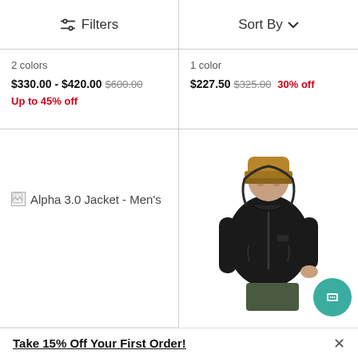Filters | Sort By
2 colors
$330.00 - $420.00 $600.00 Up to 45% off
1 color
$227.50 $325.00 30% off
[Figure (photo): Broken image placeholder for Alpha 3.0 Jacket - Men's]
[Figure (photo): Man wearing a black hooded jacket and tan/brown beanie hat]
Take 15% Off Your First Order!